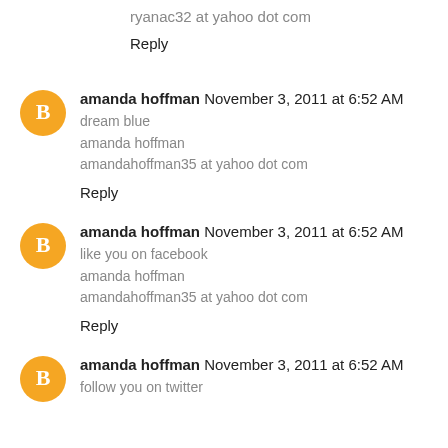ryanac32 at yahoo dot com
Reply
amanda hoffman  November 3, 2011 at 6:52 AM
dream blue
amanda hoffman
amandahoffman35 at yahoo dot com
Reply
amanda hoffman  November 3, 2011 at 6:52 AM
like you on facebook
amanda hoffman
amandahoffman35 at yahoo dot com
Reply
amanda hoffman  November 3, 2011 at 6:52 AM
follow you on twitter